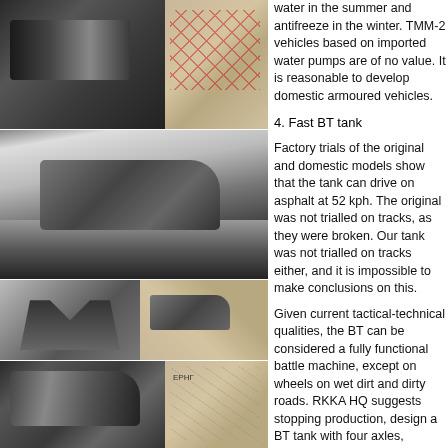[Figure (photo): Black and white photograph of a tank gun/barrel close-up, top left]
[Figure (photo): Map with red lines/roads overlay, top right of left column]
[Figure (photo): Large black and white photograph of a BT fast tank driving through field, splashing]
[Figure (photo): Black and white photograph of soldiers standing on/near a tank]
[Figure (photo): Small tank photograph with map background]
[Figure (photo): Black and white close-up photograph of a tank with two gun barrels, bottom left]
[Figure (photo): Map background with Cyrillic text (ЕРНГ region), bottom right of left column]
water in the summer and antifreeze in the winter. TMM-2 vehicles based on imported water pumps are of no value. It is reasonable to develop domestic armoured vehicles.
4. Fast BT tank
Factory trials of the original and domestic models show that the tank can drive on asphalt at 52 kph. The original was not trialled on tracks, as they were broken. Our tank was not trialled on tracks either, and it is impossible to make conclusions on this.
Given current tactical-technical qualities, the BT can be considered a fully functional battle machine, except on wheels on wet dirt and dirty roads. RKKA HQ suggests stopping production, design a BT tank with four axles, increasing that number to six. The track removal process should be mechanized, as taking off 60 minutes for tracks and 15-30 minutes to remove them is too long.
RKKA HQ insists on rapid modernization and the construction of a prototype amphibious tank.